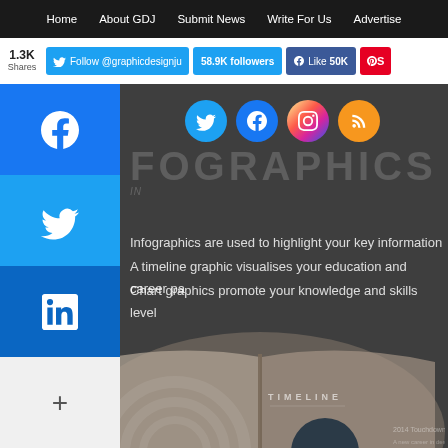Home | About GDJ | Submit News | Write For Us | Advertise
1.3K Shares | Follow @graphicdesignju | 58.9K followers | Like 50K
INFOGRAPHICS
Infographics are used to highlight your key information
A timeline graphic visualises your education and career path
Chart graphics promote your knowledge and skills level
[Figure (photo): Open brochure/booklet showing a timeline infographic layout with '2015' circle and year markers on a dark background]